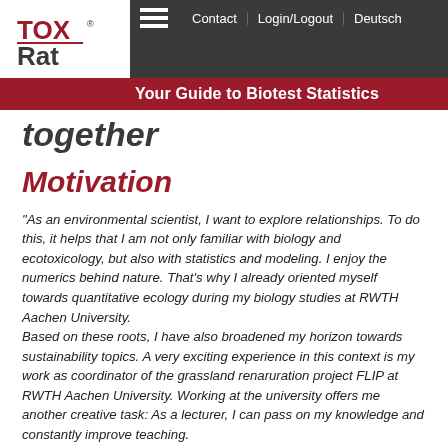TOXRat® | Contact | Login/Logout | Deutsch | Your Guide to Biotest Statistics
together
Motivation
"As an environmental scientist, I want to explore relationships. To do this, it helps that I am not only familiar with biology and ecotoxicology, but also with statistics and modeling. I enjoy the numerics behind nature. That's why I already oriented myself towards quantitative ecology during my biology studies at RWTH Aachen University.
Based on these roots, I have also broadened my horizon towards sustainability topics. A very exciting experience in this context is my work as coordinator of the grassland renaruration project FLIP at RWTH Aachen University. Working at the university offers me another creative task: As a lecturer, I can pass on my knowledge and constantly improve teaching.